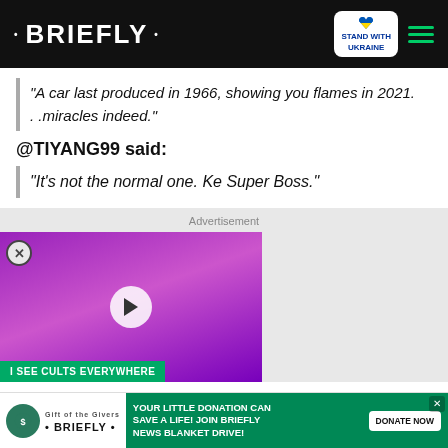• BRIEFLY •
"A car last produced in 1966, showing you flames in 2021. . .miracles indeed."
@TIYANG99 said:
"It's not the normal one. Ke Super Boss."
Advertisement
[Figure (screenshot): Video thumbnail showing a bald woman with makeup on purple background with play button overlay, labeled 'I SEE CULTS EVERYWHERE']
[Figure (infographic): Donation banner: YOUR LITTLE DONATION CAN SAVE A LIFE! JOIN BRIEFLY NEWS BLANKET DRIVE! with DONATE NOW button]